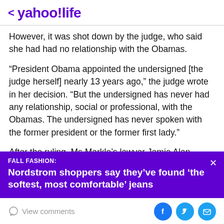< yahoo!life
However, it was shot down by the judge, who said she had had no relationship with the Obamas.
“President Obama appointed the undersigned [the judge herself] nearly 13 years ago,” the judge wrote in her decision. “But the undersigned has never had any relationship, social or professional, with the Obamas. The undersigned has never spoken with the former president or the former first lady.”
After the ruling, Ms Markle’s lawyer Jamie Alan Sasson
[Figure (other): Purple advertisement banner: FALL FASHION: Nordstrom shoppers say they've found 'the softest, most comfortable' jeans]
View comments | Facebook | Twitter | Email